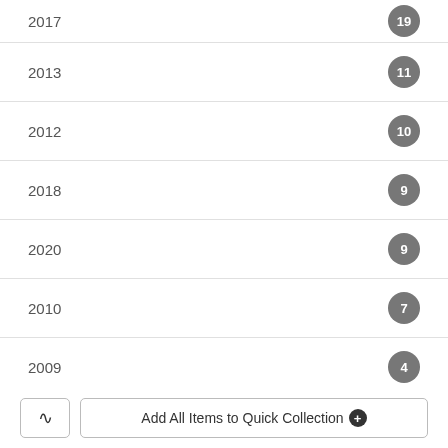2017  19
2013  11
2012  10
2018  9
2020  9
2010  7
2009  4
+ Show More
Format Type
Adobe Acrobat PDF  58
Add All Items to Quick Collection